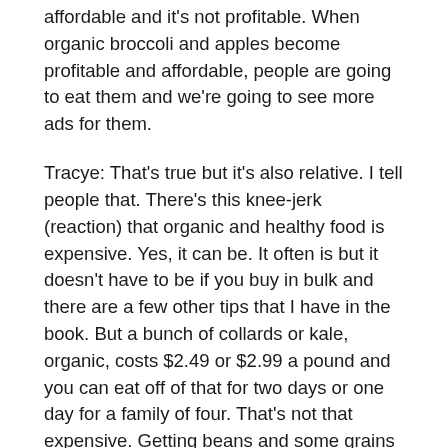affordable and it's not profitable. When organic broccoli and apples become profitable and affordable, people are going to eat them and we're going to see more ads for them.
Tracye: That's true but it's also relative. I tell people that. There's this knee-jerk (reaction) that organic and healthy food is expensive. Yes, it can be. It often is but it doesn't have to be if you buy in bulk and there are a few other tips that I have in the book. But a bunch of collards or kale, organic, costs $2.49 or $2.99 a pound and you can eat off of that for two days or one day for a family of four. That's not that expensive. Getting beans and some grains in bulk: not that pricey.
Caryn: You put dried beans next to any $1 meal or any fast food meal and you're going to be saving tons of money. Dry beans win in any scenario.
Tracye: Exactly. Throw them in an electric crockpot on the counter and cook them while you're at work or doing something else and get some great recipes for them and you're golden. It also...